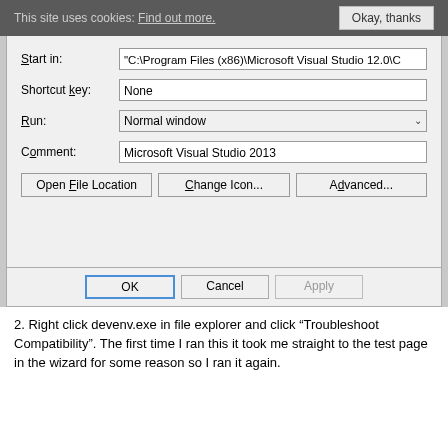This site uses cookies: Find out more.   Okay, thanks
[Figure (screenshot): Windows dialog box showing shortcut properties: Start in field with 'C:\Program Files (x86)\Microsoft Visual Studio 12.0\C', Shortcut key field with 'None', Run dropdown with 'Normal window', Comment field with 'Microsoft Visual Studio 2013'. Buttons: Open File Location, Change Icon..., Advanced.... OK (focused), Cancel, Apply buttons at bottom.]
2. Right click devenv.exe in file explorer and click “Troubleshoot Compatibility”. The first time I ran this it took me straight to the test page in the wizard for some reason so I ran it again.